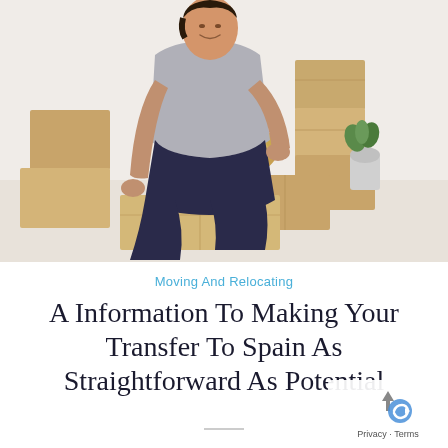[Figure (photo): A young man smiling, kneeling on the floor surrounded by moving boxes, taping a cardboard box with packing tape. A small plant is visible in the background on the right.]
Moving And Relocating
A Information To Making Your Transfer To Spain As Straightforward As Potential